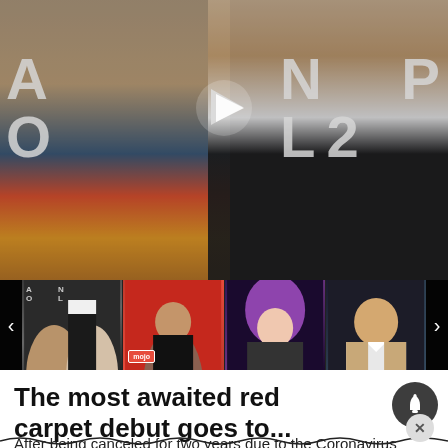[Figure (photo): Main video thumbnail showing two people (a blonde woman in colorful outfit and a man in suit with glasses and black tie) at what appears to be an event backdrop with partial letters visible. A play button triangle is overlaid in the center.]
[Figure (photo): Thumbnail strip showing four smaller video thumbnails: left arrow nav, thumbnail 1 (same two people from main image), thumbnail 2 (woman in red background with mojo badge), thumbnail 3 (woman with purple hair), thumbnail 4 (man), right arrow nav.]
The most awaited red carpet debut goes to... Kete
After being canceled for two years due to the Coronavirus pandemic, the White House Correspondents Dinner has